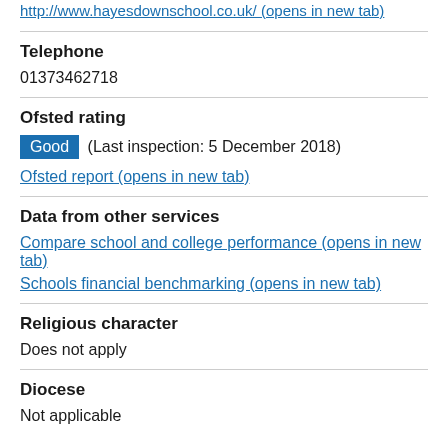http://www.hayesdownschool.co.uk/ (opens in new tab)
Telephone
01373462718
Ofsted rating
Good (Last inspection: 5 December 2018)
Ofsted report (opens in new tab)
Data from other services
Compare school and college performance (opens in new tab)
Schools financial benchmarking (opens in new tab)
Religious character
Does not apply
Diocese
Not applicable